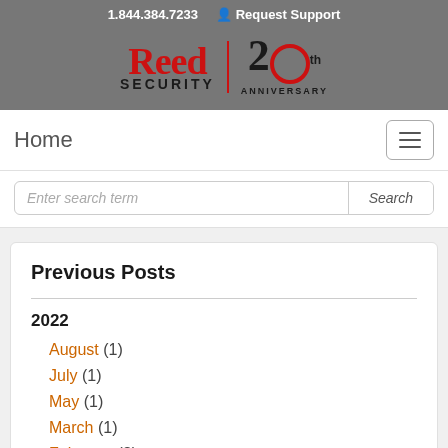1.844.384.7233   Request Support
[Figure (logo): Reed Security 20th Anniversary logo on grey background]
Home
Enter search term   Search
Previous Posts
2022
August (1)
July (1)
May (1)
March (1)
February (3)
January (1)